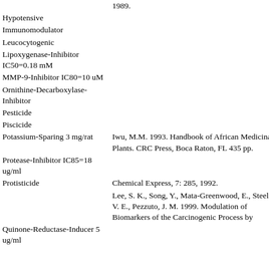1989.
Hypotensive
Immunomodulator
Leucocytogenic
Lipoxygenase-Inhibitor IC50=0.18 mM
MMP-9-Inhibitor IC80=10 uM
Ornithine-Decarboxylase-Inhibitor
Pesticide
Piscicide
Potassium-Sparing 3 mg/rat
Iwu, M.M. 1993. Handbook of African Medicinal Plants. CRC Press, Boca Raton, FL 435 pp.
Protease-Inhibitor IC85=18 ug/ml
Protisticide
Chemical Express, 7: 285, 1992.
Lee, S. K., Song, Y., Mata-Greenwood, E., Steele, V. E., Pezzuto, J. M. 1999. Modulation of Biomarkers of the Carcinogenic Process by
Quinone-Reductase-Inducer 5 ug/ml